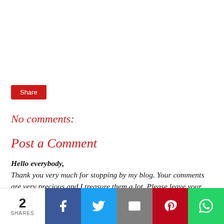Share
No comments:
Post a Comment
Hello everybody,
Thank you very much for stopping by my blog. Your comments are very precious and I treasure them a lot. Please leave your valuable comments and suggestions here. All our content & photos are copyright protected.
2 SHARES — Facebook, Twitter, Email, Pinterest, WhatsApp